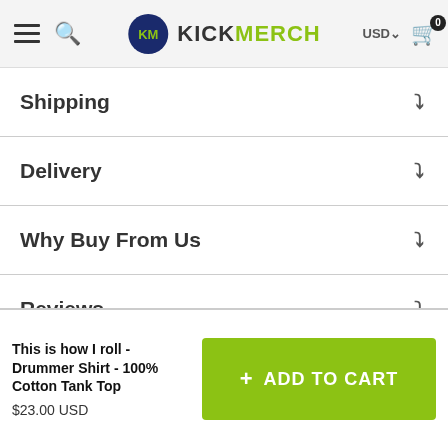KickMerch — USD — Cart (0)
Shipping
Delivery
Why Buy From Us
Reviews
This is how I roll - Drummer Shirt - 100% Cotton Tank Top
$23.00 USD
+ ADD TO CART